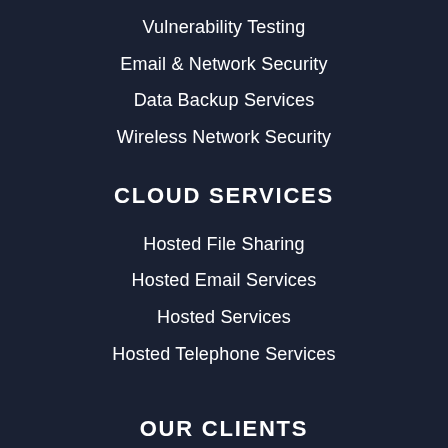Vulnerability Testing
Email & Network Security
Data Backup Services
Wireless Network Security
CLOUD SERVICES
Hosted File Sharing
Hosted Email Services
Hosted Services
Hosted Telephone Services
OUR CLIENTS